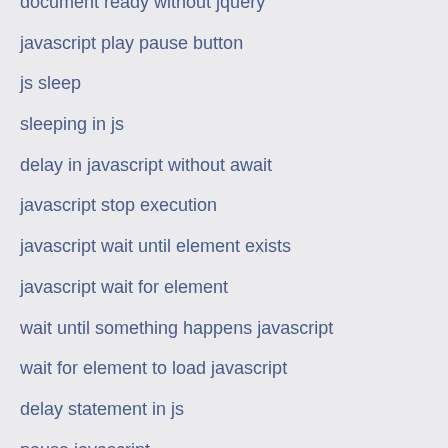document ready without jquery
javascript play pause button
js sleep
sleeping in js
delay in javascript without await
javascript stop execution
javascript wait until element exists
javascript wait for element
wait until something happens javascript
wait for element to load javascript
delay statement in js
pause javascript
javascript sleep 1